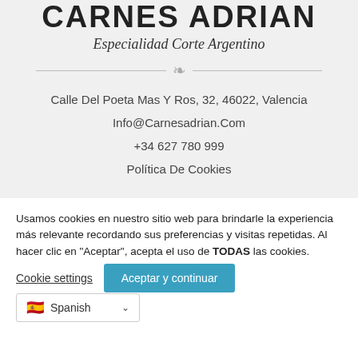CARNES ADRIAN
Especialidad Corte Argentino
Calle Del Poeta Mas Y Ros, 32, 46022, Valencia
Info@Carnesadrian.Com
+34 627 780 999
Política De Cookies
Usamos cookies en nuestro sitio web para brindarle la experiencia más relevante recordando sus preferencias y visitas repetidas. Al hacer clic en "Aceptar", acepta el uso de TODAS las cookies.
Cookie settings
Aceptar y continuar
Spanish